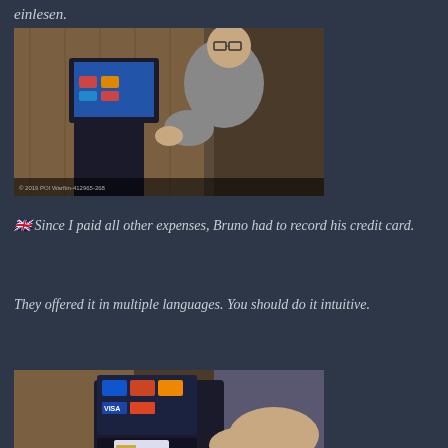einlesen.
[Figure (photo): Man in grey turtleneck sweater using a self-service kiosk or payment terminal machine in what appears to be a hotel or cruise ship lobby.]
🇬🇧 Since I paid all other expenses, Bruno had to record his credit card.
They offered it in multiple languages. You should do it intuitive.
[Figure (photo): Close-up of hands inserting or swiping a credit card at a payment terminal with a touchscreen display showing card type options.]